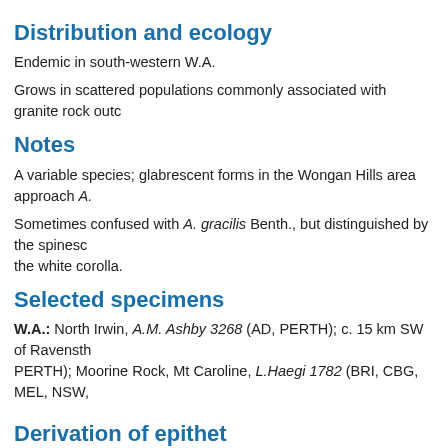Distribution and ecology
Endemic in south-western W.A.
Grows in scattered populations commonly associated with granite rock outc…
Notes
A variable species; glabrescent forms in the Wongan Hills area approach A.…
Sometimes confused with A. gracilis Benth., but distinguished by the spinesc… the white corolla.
Selected specimens
W.A.: North Irwin, A.M. Ashby 3268 (AD, PERTH); c. 15 km SW of Ravensth… PERTH); Moorine Rock, Mt Caroline, L.Haegi 1782 (BRI, CBG, MEL, NSW,…
Derivation of epithet
From Latin, meaning 'resembling Genista', a reference to the genus Genista.
Images and information on web
Images of this species can be seen on the FloraBase site at http://florabase.…
Pharmacology: A discussion of the tropane alkaloids which occur in Anthoc…